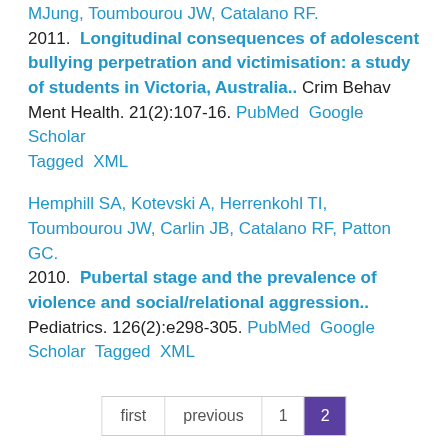MJung, Toumbourou JW, Catalano RF. 2011. Longitudinal consequences of adolescent bullying perpetration and victimisation: a study of students in Victoria, Australia.. Crim Behav Ment Health. 21(2):107-16. PubMed Google Scholar Tagged XML
Hemphill SA, Kotevski A, Herrenkohl TI, Toumbourou JW, Carlin JB, Catalano RF, Patton GC. 2010. Pubertal stage and the prevalence of violence and social/relational aggression.. Pediatrics. 126(2):e298-305. PubMed Google Scholar Tagged XML
first  previous  1  2